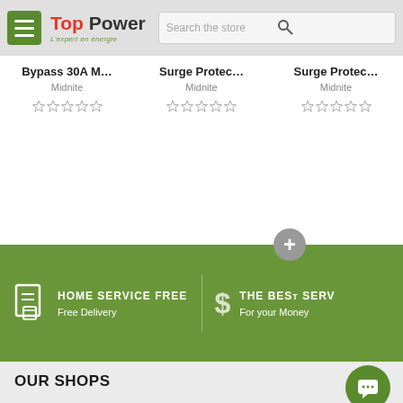Top Power - L'expert en énergie
Bypass 30A M…
Midnite
Surge Protec…
Midnite
Surge Protec…
Midnite
HOME SERVICE FREE
Free Delivery
THE BES…ERV…
For your Money
OUR SHOPS